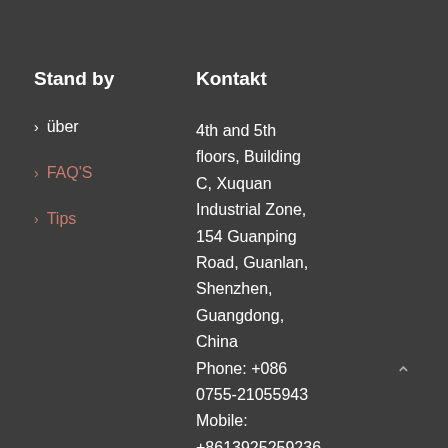Stand by
Kontakt
> über
> FAQ'S
> Tips
4th and 5th floors, Building C, Xuquan Industrial Zone, 154 Guanping Road, Guanlan, Shenzhen, Guangdong, China Phone: +086 0755-21055943 Mobile: +8613925259236 Fax: +086 0755-